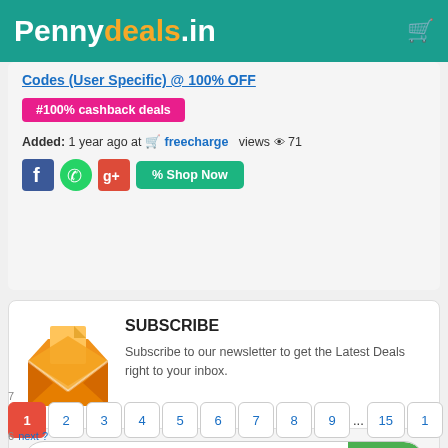Pennydeals.in
Codes (User Specific) @ 100% OFF
#100% cashback deals
Added: 1 year ago at freecharge views 71
[Figure (screenshot): Social share buttons: Facebook, WhatsApp, Google Plus and Shop Now button]
SUBSCRIBE
Subscribe to our newsletter to get the Latest Deals right to your inbox.
Email address
7 ... 1 2 3 4 5 6 7 8 9 ... 15 16 next ?
6 next?